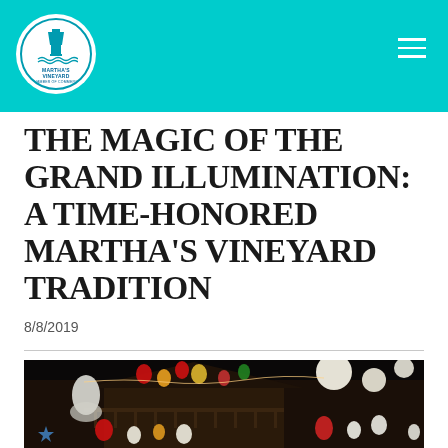Martha's Vineyard — site header with logo and navigation
THE MAGIC OF THE GRAND ILLUMINATION: A TIME-HONORED MARTHA'S VINEYARD TRADITION
8/8/2019
[Figure (photo): Night-time photo of the Grand Illumination event at Martha's Vineyard showing a cottage decorated with colorful hanging lanterns and lights in red, yellow, green, white against a dark sky]